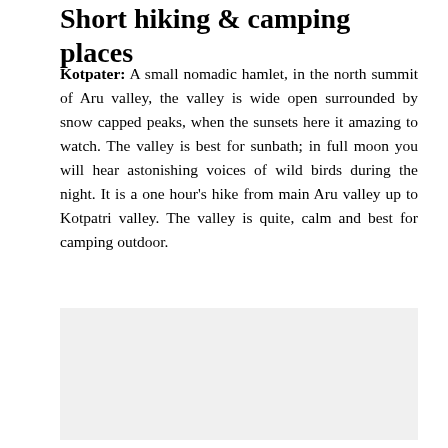Short hiking & camping places
Kotpater: A small nomadic hamlet, in the north summit of Aru valley, the valley is wide open surrounded by snow capped peaks, when the sunsets here it amazing to watch. The valley is best for sunbath; in full moon you will hear astonishing voices of wild birds during the night. It is a one hour's hike from main Aru valley up to Kotpatri valley. The valley is quite, calm and best for camping outdoor.
[Figure (photo): A light gray rectangular image placeholder occupying the lower portion of the page.]